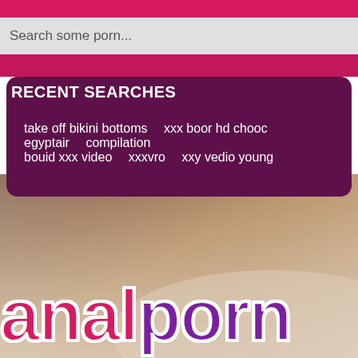Search some porn...
RECENT SEARCHES
take off bikini bottoms
xxx boor hd chooc
egyptair
compilation
bouid xxx video
xxxvro
xxy vedio young
[Figure (photo): Background photo with skin tones]
analporn